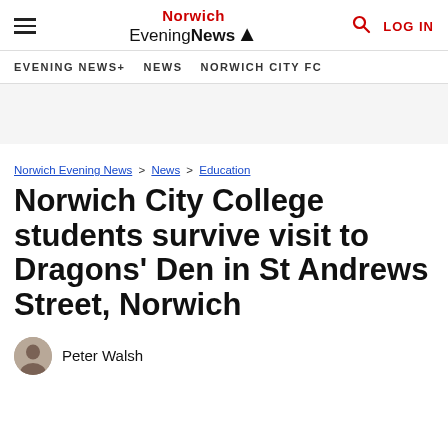Norwich Evening News — EVENING NEWS+ | NEWS | NORWICH CITY FC — LOG IN
Norwich Evening News > News > Education
Norwich City College students survive visit to Dragons' Den in St Andrews Street, Norwich
Peter Walsh